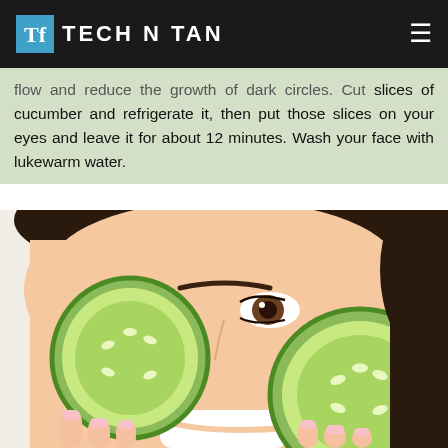TECH N TAN
...flow and reduce the growth of dark circles. Cut slices of cucumber and refrigerate it, then put those slices on your eyes and leave it for about 12 minutes. Wash your face with lukewarm water.
[Figure (photo): Woman holding two cucumber slices up to her eyes, smiling, with one eye visible between the slices. White background. Close-up portrait shot.]